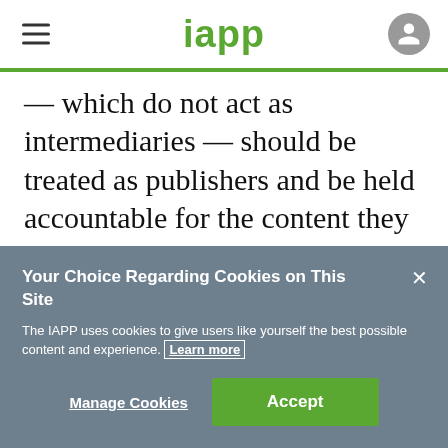iapp
— which do not act as intermediaries — should be treated as publishers and be held accountable for the content they host. The rationale is such platforms can select the receiver
Your Choice Regarding Cookies on This Site
The IAPP uses cookies to give users like yourself the best possible content and experience. Learn more
Manage Cookies
Accept